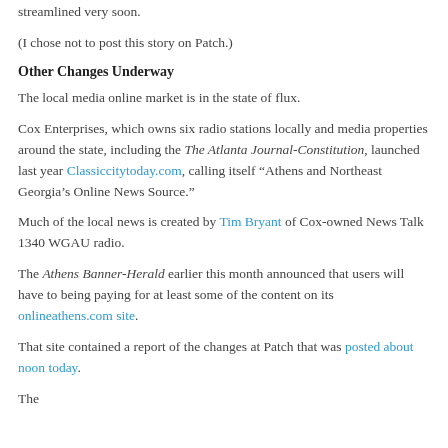streamlined very soon.
(I chose not to post this story on Patch.)
Other Changes Underway
The local media online market is in the state of flux.
Cox Enterprises, which owns six radio stations locally and media properties around the state, including the The Atlanta Journal-Constitution, launched last year Classiccitytoday.com, calling itself “Athens and Northeast Georgia’s Online News Source.”
Much of the local news is created by Tim Bryant of Cox-owned News Talk 1340 WGAU radio.
The Athens Banner-Herald earlier this month announced that users will have to being paying for at least some of the content on its onlineathens.com site.
That site contained a report of the changes at Patch that was posted about noon today.
The bottom was cut by The...